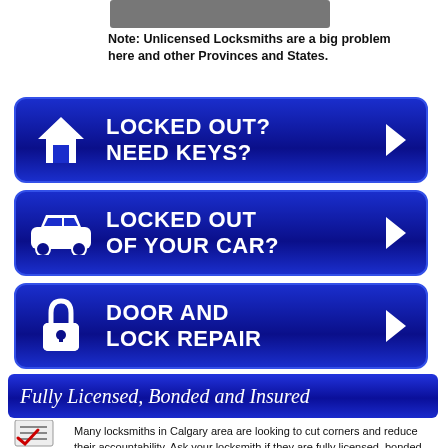[Figure (other): Gray rectangle placeholder image]
Note: Unlicensed Locksmiths are a big problem here and other Provinces and States.
[Figure (infographic): Blue button with house icon: LOCKED OUT? NEED KEYS?]
[Figure (infographic): Blue button with car icon: LOCKED OUT OF YOUR CAR?]
[Figure (infographic): Blue button with padlock icon: DOOR AND LOCK REPAIR]
[Figure (infographic): Blue banner: Fully Licensed, Bonded and Insured]
Many locksmiths in Calgary area are looking to cut corners and reduce their accountability. Ask your locksmith if they are fully licensed, bonded and insured – Like we are.
[Figure (other): Bottom blue/red strip partially visible]